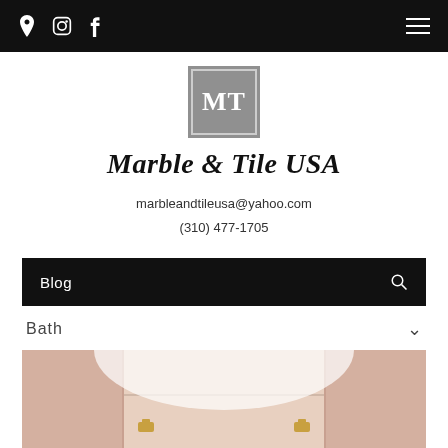Navigation bar with location, Instagram, Facebook icons and hamburger menu
[Figure (logo): MT logo in gray square box with white serif letters MT]
Marble & Tile USA
marbleandtileusa@yahoo.com
(310) 477-1705
Blog
Bath
[Figure (photo): Interior bathroom photo showing pink/rose marble tile wall panels with gold fixtures and a white ceiling/countertop element]